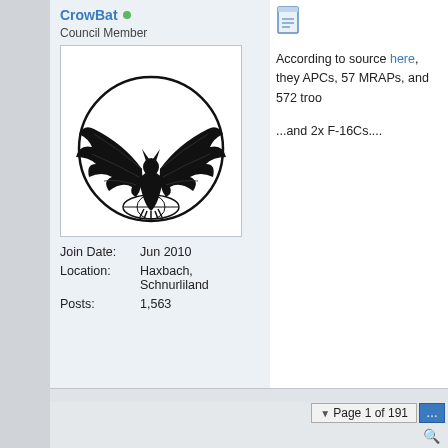CrowBat
Council Member
[Figure (illustration): Black and white illustration of a winged bat-like creature standing on a globe, with wings spread wide, inside a circular border. Forum user avatar.]
Join Date: Jun 2010
Location: Haxbach, Schnurliland
Posts: 1,563
According to source here, they APCs, 57 MRAPs, and 572 troo
...and 2x F-16Cs....
Page 1 of 191
« Previous Thread | Next Thread
Similar Threads
Foreign fighters in Iraq & Syria
By davidbfpo in forum Middle East